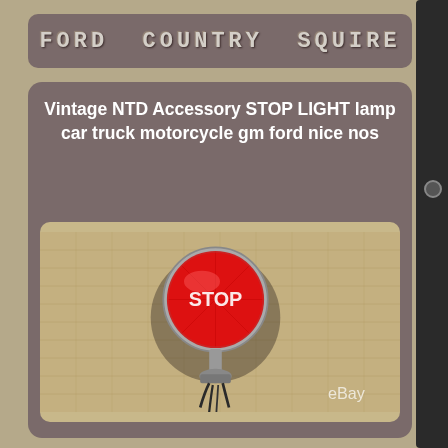FORD COUNTRY SQUIRE
Vintage NTD Accessory STOP LIGHT lamp car truck motorcycle gm ford nice nos
[Figure (photo): Vintage NTD accessory stop light lamp mounted on bracket, round red lens with STOP lettering, chrome mount with wiring, photographed on burlap background with eBay watermark]
[Figure (photo): Partial view of second vintage stop light lamp on burlap background, partially cropped at bottom of page]